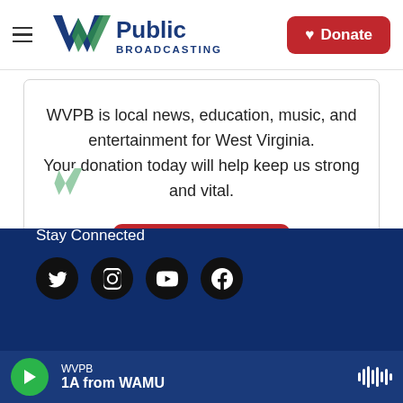[Figure (logo): WV Public Broadcasting logo with W checkmark in blue/green and 'Public BROADCASTING' text in navy blue, plus hamburger menu icon on left]
[Figure (logo): Red Donate button with heart icon in top right of header]
WVPB is local news, education, music, and entertainment for West Virginia. Your donation today will help keep us strong and vital.
[Figure (other): Donate Now button in dark red/crimson with rounded corners]
[Figure (logo): WV Public Broadcasting white logo on dark navy blue footer background]
Stay Connected
[Figure (other): Social media icons: Twitter, Instagram, YouTube, Facebook — white icons on black circular backgrounds]
[Figure (other): Audio player bar at bottom: green play button, WVPB station label, '1A from WAMU' program name, waveform icon on right, on dark navy background]